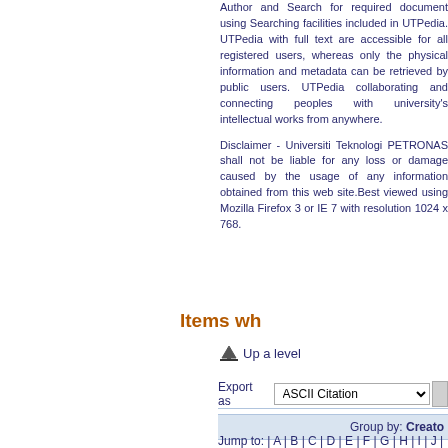Author and Search for required document using Searching facilities included in UTPedia. UTPedia with full text are accessible for all registered users, whereas only the physical information and metadata can be retrieved by public users. UTPedia collaborating and connecting peoples with university's intellectual works from anywhere.
Disclaimer - Universiti Teknologi PETRONAS shall not be liable for any loss or damage caused by the usage of any information obtained from this web site.Best viewed using Mozilla Firefox 3 or IE 7 with resolution 1024 x 768.
Items wh
Up a level
Export as  ASCII Citation
Group by: Creator
Jump to: | A | B | C | D | E | F | G | H | I | J |